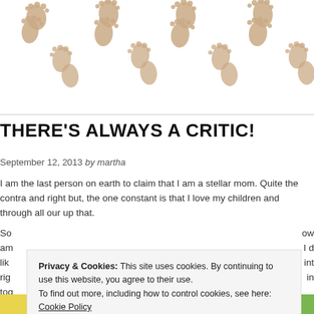[Figure (illustration): Repeating tan/beige footprint pairs pattern across the top header banner of the page against a white background]
THERE'S ALWAYS A CRITIC!
September 12, 2013 by martha
I am the last person on earth to claim that I am a stellar mom. Quite the contra and right but, the one constant is that I love my children and through all our up that.
So... ow am I d lik int rig in tog
Privacy & Cookies: This site uses cookies. By continuing to use this website, you agree to their use. To find out more, including how to control cookies, see here: Cookie Policy
Close and accept